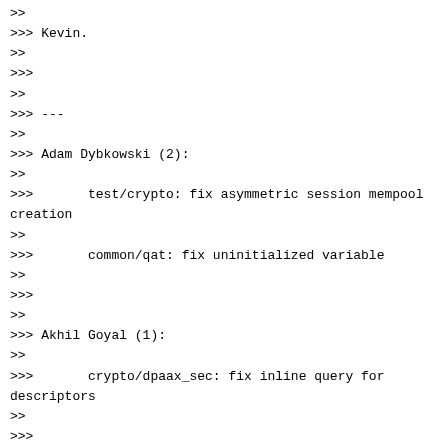>> 
>>> Kevin.
>>
>>>
>>
>>> ---
>>
>>> Adam Dybkowski (2):
>>
>>>       test/crypto: fix asymmetric session mempool creation
>>
>>>       common/qat: fix uninitialized variable
>>
>>>
>>
>>> Akhil Goyal (1):
>>
>>>       crypto/dpaax_sec: fix inline query for descriptors
>>
>>>
>>
>>> Alan Dewar (1):
>>
>>>       sched: fix port time rounding
>>
>>>
>>
>>> Alexander Kozyrev (1):
>>